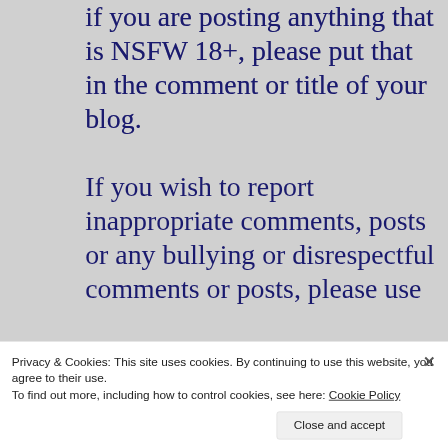if you are posting anything that is NSFW 18+, please put that in the comment or title of your blog.
If you wish to report inappropriate comments, posts or any bullying or disrespectful comments or posts, please use
Privacy & Cookies: This site uses cookies. By continuing to use this website, you agree to their use. To find out more, including how to control cookies, see here: Cookie Policy
Close and accept